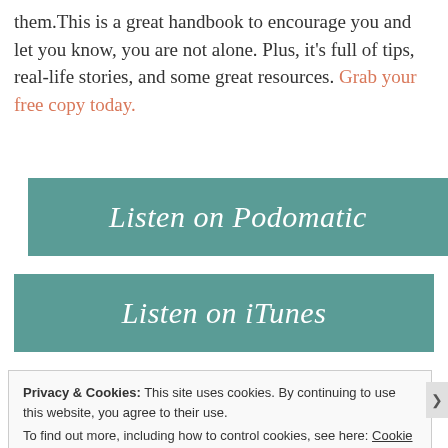them. This is a great handbook to encourage you and let you know, you are not alone. Plus, it's full of tips, real-life stories, and some great resources. Grab your free copy today.
Listen on Podomatic
Listen on iTunes
Privacy & Cookies: This site uses cookies. By continuing to use this website, you agree to their use. To find out more, including how to control cookies, see here: Cookie Policy
Close and accept